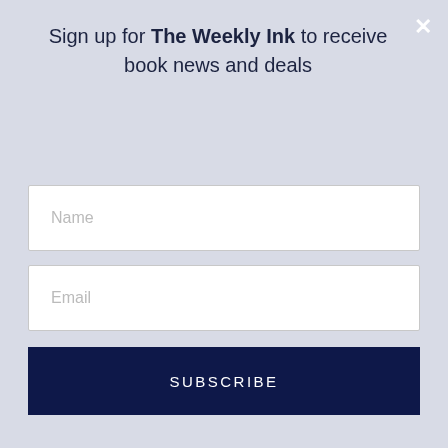Sign up for The Weekly Ink to receive book news and deals
[Figure (screenshot): Name input field (text box)]
[Figure (screenshot): Email input field (text box)]
[Figure (screenshot): SUBSCRIBE button (dark navy)]
Website | Twitter | Facebook | Instagram
DECEMBER 3, 2018    BY: ADMIN
FILED UNDER: PRE-ORDER BLITZ, TEASER REVEALS
PREORDER ALERT: UNTIL THE